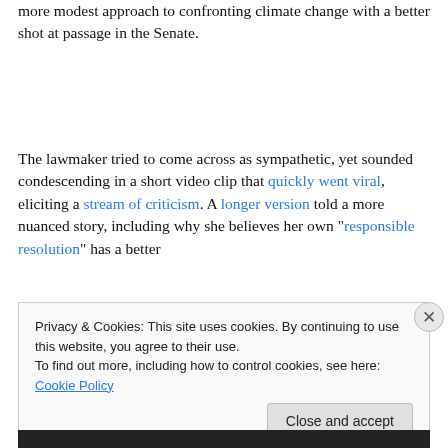more modest approach to confronting climate change with a better shot at passage in the Senate.
The lawmaker tried to come across as sympathetic, yet sounded condescending in a short video clip that quickly went viral, eliciting a stream of criticism. A longer version told a more nuanced story, including why she believes her own “responsible resolution” has a better
Privacy & Cookies: This site uses cookies. By continuing to use this website, you agree to their use.
To find out more, including how to control cookies, see here: Cookie Policy
Close and accept